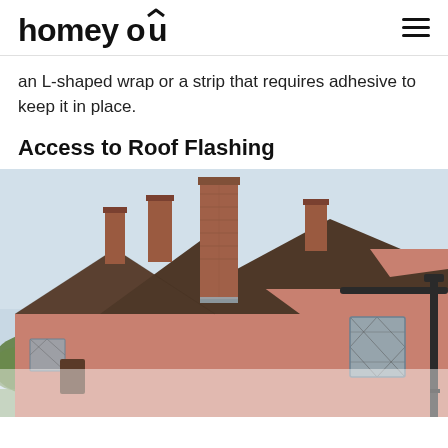homeyou
an L-shaped wrap or a strip that requires adhesive to keep it in place.
Access to Roof Flashing
[Figure (photo): Exterior photo of a pink/salmon-colored English cottage with multiple brick chimneys, clay tile roofing, diamond-pane windows, and a black downspout on the right side. Green trees visible in the background on the left.]